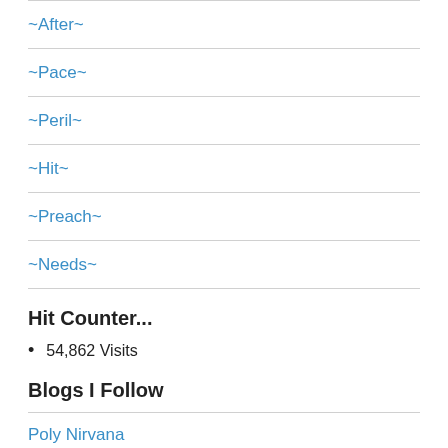~After~
~Pace~
~Peril~
~Hit~
~Preach~
~Needs~
Hit Counter...
54,862 Visits
Blogs I Follow
Poly Nirvana